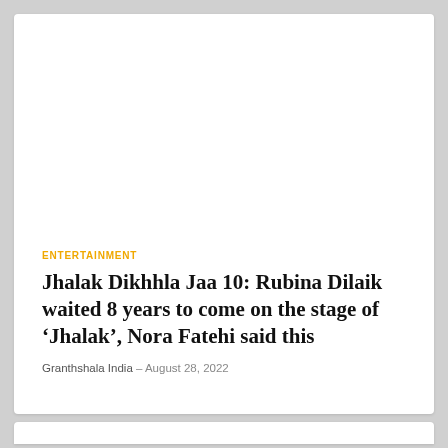ENTERTAINMENT
Jhalak Dikhhla Jaa 10: Rubina Dilaik waited 8 years to come on the stage of ‘Jhalak’, Nora Fatehi said this
Granthshala India – August 28, 2022